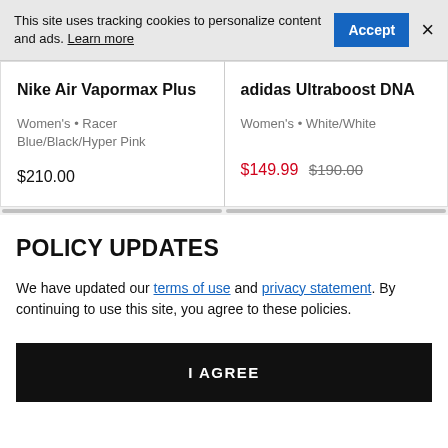This site uses tracking cookies to personalize content and ads. Learn more
Nike Air Vapormax Plus
Women's • Racer Blue/Black/Hyper Pink
$210.00
adidas Ultraboost DNA
Women's • White/White
$149.99  $190.00
POLICY UPDATES
We have updated our terms of use and privacy statement. By continuing to use this site, you agree to these policies.
I AGREE